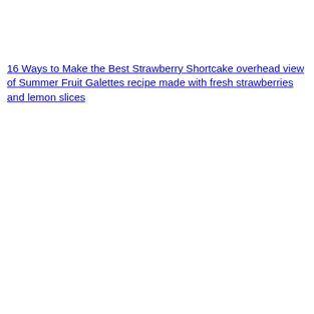16 Ways to Make the Best Strawberry Shortcake overhead view of Summer Fruit Galettes recipe made with fresh strawberries and lemon slices